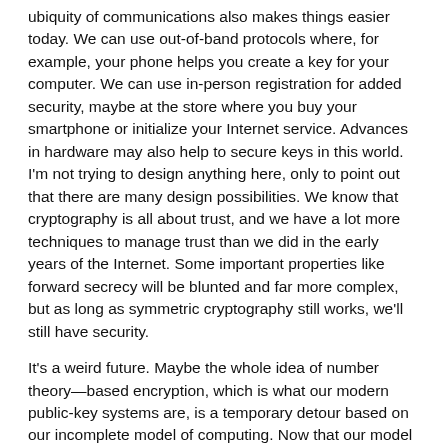ubiquity of communications also makes things easier today. We can use out-of-band protocols where, for example, your phone helps you create a key for your computer. We can use in-person registration for added security, maybe at the store where you buy your smartphone or initialize your Internet service. Advances in hardware may also help to secure keys in this world. I'm not trying to design anything here, only to point out that there are many design possibilities. We know that cryptography is all about trust, and we have a lot more techniques to manage trust than we did in the early years of the Internet. Some important properties like forward secrecy will be blunted and far more complex, but as long as symmetric cryptography still works, we'll still have security.
It's a weird future. Maybe the whole idea of number theory—based encryption, which is what our modern public-key systems are, is a temporary detour based on our incomplete model of computing. Now that our model has expanded to include quantum computing, we might end up back to where we were in the late 1970s and early 1980s: symmetric cryptography, code-based cryptography, Merkle hash signatures. That would be both amusing and ironic.